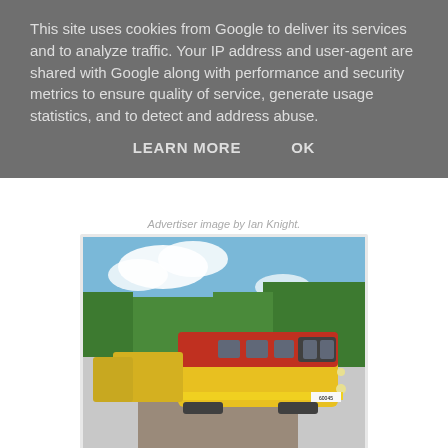This site uses cookies from Google to deliver its services and to analyze traffic. Your IP address and user-agent are shared with Google along with performance and security metrics to ensure quality of service, generate usage statistics, and to detect and address abuse.
LEARN MORE    OK
Advertiser image by Ian Knight.
[Figure (photo): A red and yellow diesel locomotive (60045) at a railway station platform with trees in the background on a partly cloudy day.]
60045 worked the cycle on Thursday 8th again. 6O41 10:20 Westbury - Eastleigh at Redbridge. Image by Ian Knight. 60045 now Hinksey yard shunter.
[Figure (photo): Partial bottom image showing another railway scene.]